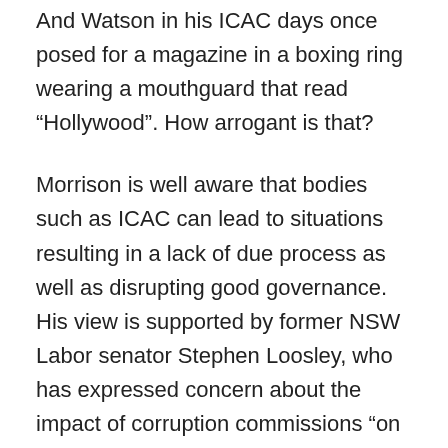And Watson in his ICAC days once posed for a magazine in a boxing ring wearing a mouthguard that read “Hollywood”. How arrogant is that?
Morrison is well aware that bodies such as ICAC can lead to situations resulting in a lack of due process as well as disrupting good governance. His view is supported by former NSW Labor senator Stephen Loosley, who has expressed concern about the impact of corruption commissions “on the innocent”.
Anti-corruption commissions are much loved by some journalists since they provide stories. But they are not without a downside.